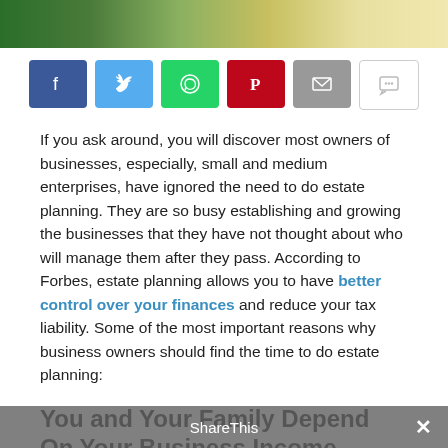[Figure (photo): Decorative photo banner at top of page showing financial/business imagery with green and golden tones]
[Figure (infographic): Social share buttons row: Facebook (blue), Twitter (light blue), WhatsApp (green), Pinterest (red), Email (grey), Comment (white/grey outline)]
If you ask around, you will discover most owners of businesses, especially, small and medium enterprises, have ignored the need to do estate planning. They are so busy establishing and growing the businesses that they have not thought about who will manage them after they pass. According to Forbes, estate planning allows you to have better control over your finances and reduce your tax liability. Some of the most important reasons why business owners should find the time to do estate planning:
You and Your Family Depend On Your Business Income
For most business owners, equity in their business constitutes a significant part of their net worth. In many
ShareThis ×